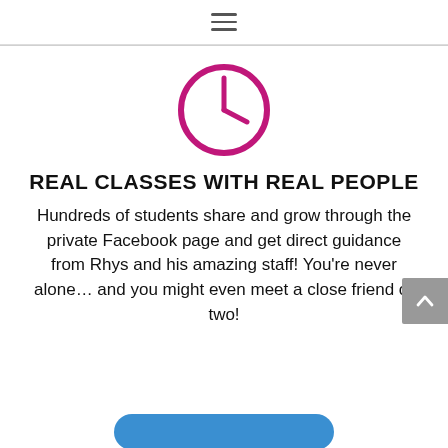≡
[Figure (illustration): A magenta/pink clock icon — circular outline with hour and minute hands pointing to approximately 12:30, rendered as a simple line-art symbol.]
REAL CLASSES WITH REAL PEOPLE
Hundreds of students share and grow through the private Facebook page and get direct guidance from Rhys and his amazing staff! You're never alone… and you might even meet a close friend or two!